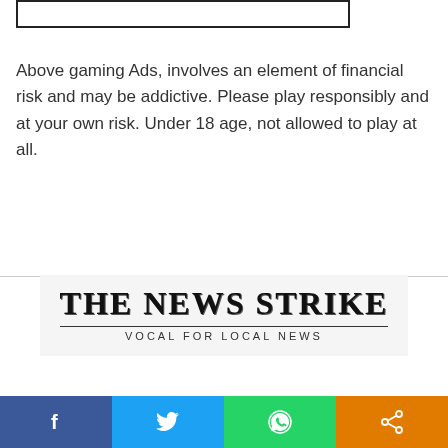[Figure (other): Ad placeholder box — thin bordered rectangle at top of page]
Above gaming Ads, involves an element of financial risk and may be addictive. Please play responsibly and at your own risk. Under 18 age, not allowed to play at all.
[Figure (logo): The News Strike logo — blackletter style text 'THE NEWS STRIKE' with tagline 'VOCAL FOR LOCAL NEWS' below a horizontal rule]
[Figure (other): Social media sharing bar with Facebook (blue), Twitter (light blue), WhatsApp (green), and Share (orange) buttons]